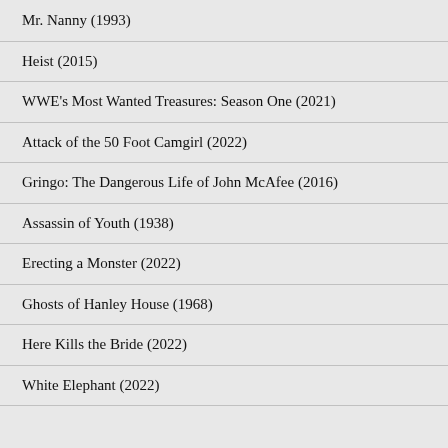Mr. Nanny (1993)
Heist (2015)
WWE's Most Wanted Treasures: Season One (2021)
Attack of the 50 Foot Camgirl (2022)
Gringo: The Dangerous Life of John McAfee (2016)
Assassin of Youth (1938)
Erecting a Monster (2022)
Ghosts of Hanley House (1968)
Here Kills the Bride (2022)
White Elephant (2022)